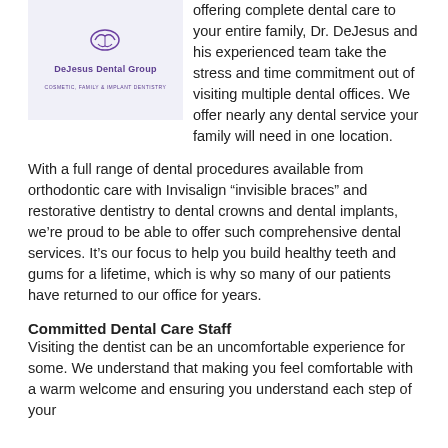[Figure (logo): DeJesus Dental Group logo with purple text and dental icon, on a light blue-gray background]
offering complete dental care to your entire family, Dr. DeJesus and his experienced team take the stress and time commitment out of visiting multiple dental offices. We offer nearly any dental service your family will need in one location.
With a full range of dental procedures available from orthodontic care with Invisalign “invisible braces” and restorative dentistry to dental crowns and dental implants, we’re proud to be able to offer such comprehensive dental services. It’s our focus to help you build healthy teeth and gums for a lifetime, which is why so many of our patients have returned to our office for years.
Committed Dental Care Staff
Visiting the dentist can be an uncomfortable experience for some. We understand that making you feel comfortable with a warm welcome and ensuring you understand each step of your treatment will be the primary focus of our team’s attention.